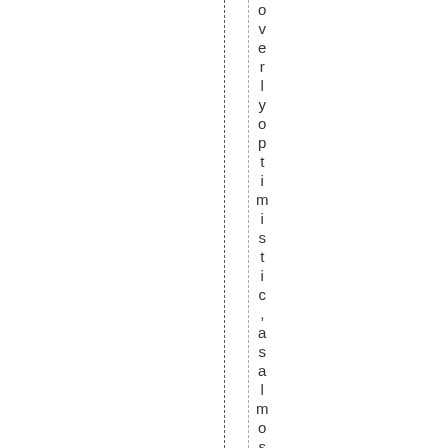overlyoptimistic,asalmostnobod